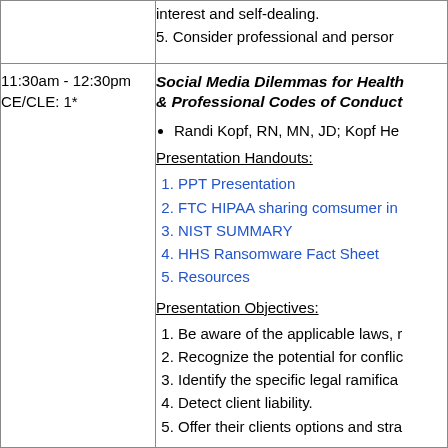interest and self-dealing.
5. Consider professional and personal...
11:30am - 12:30pm
CE/CLE: 1*
Social Media Dilemmas for Health & Professional Codes of Conduct
Randi Kopf, RN, MN, JD; Kopf He...
Presentation Handouts:
PPT Presentation
FTC HIPAA sharing comsumer in...
NIST SUMMARY
HHS Ransomware Fact Sheet
Resources
Presentation Objectives:
Be aware of the applicable laws, ...
Recognize the potential for conflic...
Identify the specific legal ramifica...
Detect client liability.
Offer their clients options and stra...